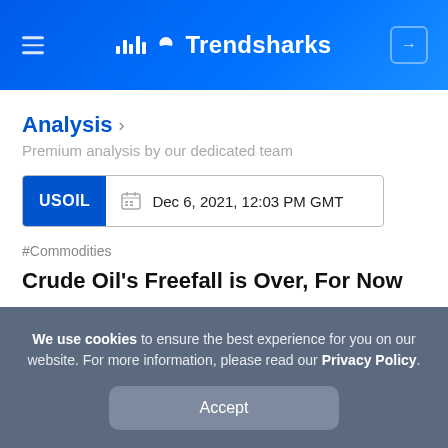Trendsharks
Analysis > Premium analysis by our dedicated team
USOIL  Dec 6, 2021, 12:03 PM GMT
#Commodities
Crude Oil's Freefall is Over, For Now
We use cookies to ensure the best experience for you on our website. For more information, please read our Privacy Policy.
Accept